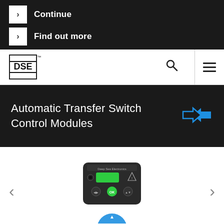Continue
Find out more
[Figure (logo): DSE (Deep Sea Electronics) logo — black square border with DSE text and horizontal line]
Automatic Transfer Switch Control Modules
[Figure (illustration): Blue bidirectional transfer switch arrow icon]
[Figure (photo): DSE automatic transfer switch control module device with green display, black enclosure, and multiple buttons]
[Figure (illustration): Partial blue circular icon at bottom of page]